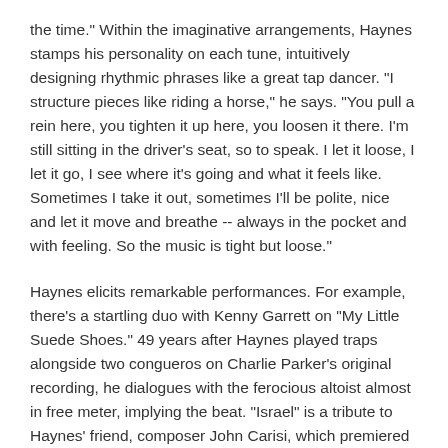the time." Within the imaginative arrangements, Haynes stamps his personality on each tune, intuitively designing rhythmic phrases like a great tap dancer. "I structure pieces like riding a horse," he says. "You pull a rein here, you tighten it up here, you loosen it there. I'm still sitting in the driver's seat, so to speak. I let it loose, I let it go, I see where it's going and what it feels like. Sometimes I take it out, sometimes I'll be polite, nice and let it move and breathe -- always in the pocket and with feeling. So the music is tight but loose."
Haynes elicits remarkable performances. For example, there's a startling duo with Kenny Garrett on "My Little Suede Shoes." 49 years after Haynes played traps alongside two congueros on Charlie Parker's original recording, he dialogues with the ferocious altoist almost in free meter, implying the beat. "Israel" is a tribute to Haynes' friend, composer John Carisi, which premiered on the April 1949 Birth of the Cool session for Capitol with